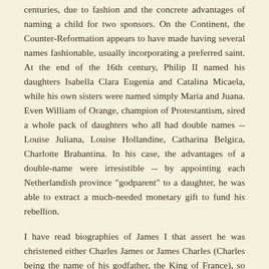centuries, due to fashion and the concrete advantages of naming a child for two sponsors. On the Continent, the Counter-Reformation appears to have made having several names fashionable, usually incorporating a preferred saint. At the end of the 16th century, Philip II named his daughters Isabella Clara Eugenia and Catalina Micaela, while his own sisters were named simply Maria and Juana. Even William of Orange, champion of Protestantism, sired a whole pack of daughters who all had double names -- Louise Juliana, Louise Hollandine, Catharina Belgica, Charlotte Brabantina. In his case, the advantages of a double-name were irresistible -- by appointing each Netherlandish province "godparent" to a daughter, he was able to extract a much-needed monetary gift to fund his rebellion.
I have read biographies of James I that assert he was christened either Charles James or James Charles (Charles being the name of his godfather, the King of France), so perhaps Scotland allowed the practice.
The house of Savoy seems to have utilized the double name with some regularity -- Elizabeth was courted as a